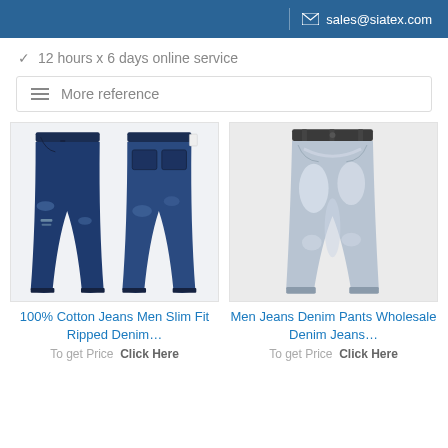sales@siatex.com
✓  12 hours x 6 days online service
☰  More reference
[Figure (photo): Product image of dark blue ripped slim fit jeans shown from front and back views]
100% Cotton Jeans Men Slim Fit Ripped Denim…
To get Price  Click Here
[Figure (photo): Product image of light grey washed denim pants shown from front view]
Men Jeans Denim Pants Wholesale Denim Jeans…
To get Price  Click Here